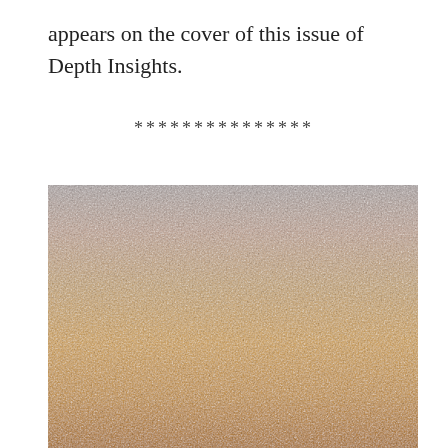appears on the cover of this issue of Depth Insights.
***************
[Figure (photo): A close-up photograph showing a gradient from grayish-purple at the top to warm golden-orange at the bottom, resembling a sky or abstract landscape at dusk or dawn.]